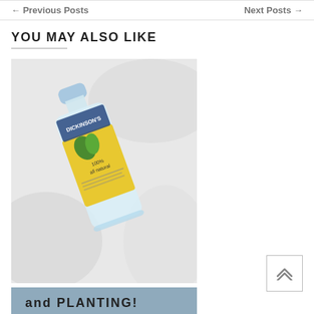← Previous Posts    Next Posts →
YOU MAY ALSO LIKE
[Figure (photo): A bottle of Dickinson's Original Witch Hazel Pore Perfecting Toner labeled '100% all natural', lying on white fabric background]
Skin Care 101 – Dickinson's Origina...
[Figure (photo): Partial view of a second blog post image, appears to show handwritten text with 'PLANTING']